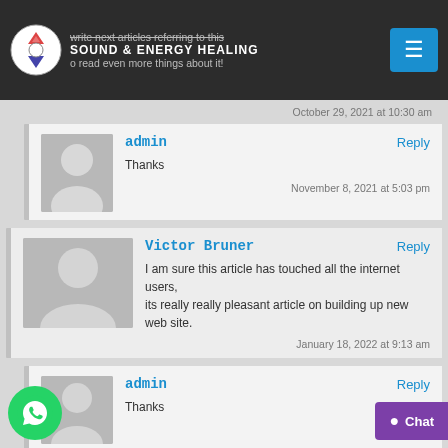write next articles referring to this | SOUND & ENERGY HEALING | o read even more things about it!
October 29, 2021 at 10:30 am
admin
Thanks
November 8, 2021 at 5:03 pm
Victor Bruner
I am sure this article has touched all the internet users, its really really pleasant article on building up new web site.
January 18, 2022 at 9:13 am
admin
Thanks